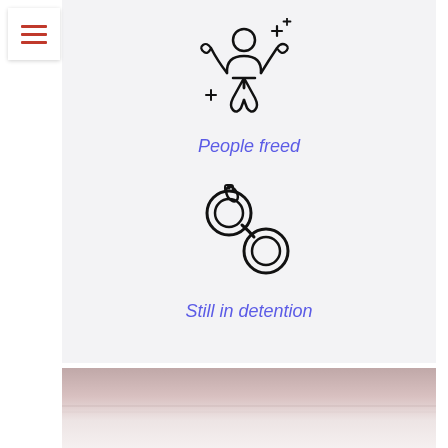[Figure (illustration): Hamburger menu icon with three red horizontal lines on white card with shadow]
[Figure (illustration): Black outline icon of a person with arms raised and sparkles, representing someone being freed]
People freed
[Figure (illustration): Black outline icon of handcuffs, representing detention]
Still in detention
[Figure (photo): Faded reddish-pink and white photo partially visible at bottom of page]